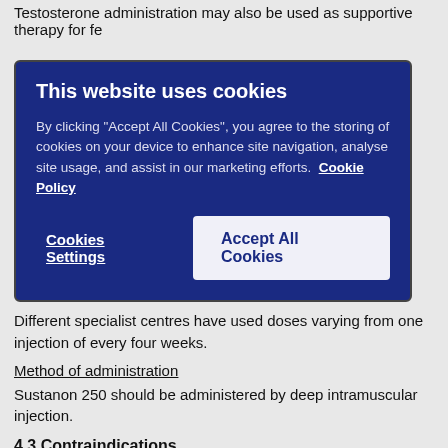Testosterone administration may also be used as supportive therapy for fe
[Figure (screenshot): Cookie consent dialog overlay with dark blue background. Title: 'This website uses cookies'. Body text: 'By clicking "Accept All Cookies", you agree to the storing of cookies on your device to enhance site navigation, analyse site usage, and assist in our marketing efforts. Cookie Policy'. Two buttons: 'Cookies Settings' and 'Accept All Cookies'.]
Different specialist centres have used doses varying from one injection of every four weeks.
Method of administration
Sustanon 250 should be administered by deep intramuscular injection.
4.3 Contraindications
• Pregnancy (see section 4.6).
• Known or suspected carcinoma of the prostate or breast (see section 4.4
• Breast-feeding.